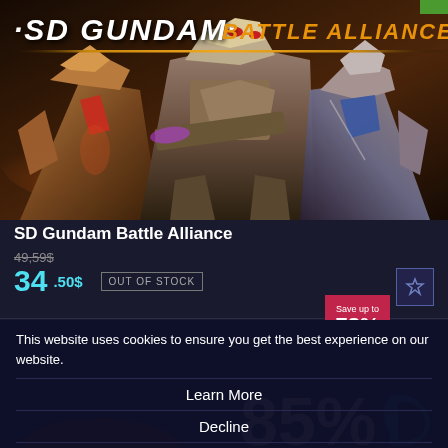[Figure (screenshot): SD Gundam Battle Alliance game banner with robot characters and orange/gold title text on dark background]
SD Gundam Battle Alliance
49,59$ (strikethrough original price)
34.50$ OUT OF STOCK
Save up to 78%
This website uses cookies to ensure you get the best experience on our website.
Learn More
Decline
Allow All
85%